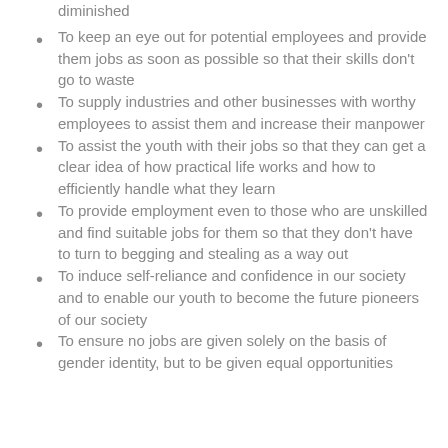diminished
To keep an eye out for potential employees and provide them jobs as soon as possible so that their skills don't go to waste
To supply industries and other businesses with worthy employees to assist them and increase their manpower
To assist the youth with their jobs so that they can get a clear idea of how practical life works and how to efficiently handle what they learn
To provide employment even to those who are unskilled and find suitable jobs for them so that they don't have to turn to begging and stealing as a way out
To induce self-reliance and confidence in our society and to enable our youth to become the future pioneers of our society
To ensure no jobs are given solely on the basis of gender identity, but to be given equal opportunities